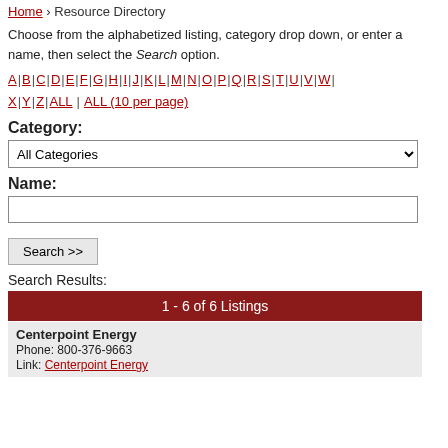Home › Resource Directory
Choose from the alphabetized listing, category drop down, or enter a name, then select the Search option.
A | B | C | D | E | F | G | H | I | J | K | L | M | N | O | P | Q | R | S | T | U | V | W | X | Y | Z | ALL | ALL (10 per page)
Category:
All Categories [dropdown]
Name:
[text input field]
Search >>
Search Results:
1 - 6 of 6 Listings
Centerpoint Energy
Phone: 800-376-9663
Link: Centerpoint Energy